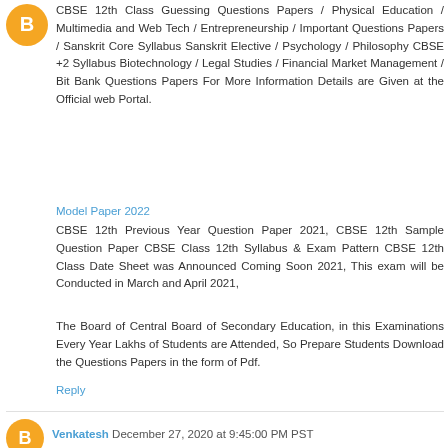[Figure (logo): Blogger avatar icon - orange circle with white B letter]
CBSE 12th Class Guessing Questions Papers / Physical Education / Multimedia and Web Tech / Entrepreneurship / Important Questions Papers / Sanskrit Core Syllabus Sanskrit Elective / Psychology / Philosophy CBSE +2 Syllabus Biotechnology / Legal Studies / Financial Market Management / Bit Bank Questions Papers For More Information Details are Given at the Official web Portal.
Model Paper 2022
CBSE 12th Previous Year Question Paper 2021, CBSE 12th Sample Question Paper CBSE Class 12th Syllabus & Exam Pattern CBSE 12th Class Date Sheet was Announced Coming Soon 2021, This exam will be Conducted in March and April 2021,
The Board of Central Board of Secondary Education, in this Examinations Every Year Lakhs of Students are Attended, So Prepare Students Download the Questions Papers in the form of Pdf.
Reply
[Figure (logo): Blogger avatar icon - orange circle with white B letter]
Venkatesh December 27, 2020 at 9:45:00 PM PST